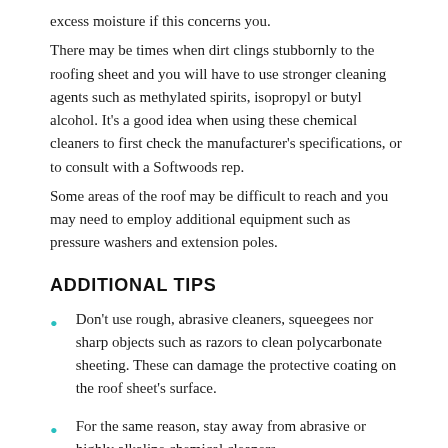excess moisture if this concerns you.
There may be times when dirt clings stubbornly to the roofing sheet and you will have to use stronger cleaning agents such as methylated spirits, isopropyl or butyl alcohol. It's a good idea when using these chemical cleaners to first check the manufacturer's specifications, or to consult with a Softwoods rep.
Some areas of the roof may be difficult to reach and you may need to employ additional equipment such as pressure washers and extension poles.
ADDITIONAL TIPS
Don't use rough, abrasive cleaners, squeegees nor sharp objects such as razors to clean polycarbonate sheeting. These can damage the protective coating on the roof sheet's surface.
For the same reason, stay away from abrasive or highly alkaline chemical cleaners.